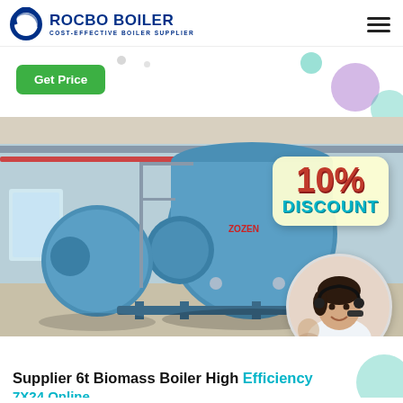[Figure (logo): Rocbo Boiler logo — crescent arc icon in dark blue with text ROCBO BOILER and subtitle COST-EFFECTIVE BOILER SUPPLIER]
[Figure (photo): Industrial boiler facility photo showing two large blue cylindrical boilers in a factory setting, with a 10% DISCOUNT badge overlay and a customer service representative in a circle inset]
Supplier 6t Biomass Boiler High Efficiency 7X24 Online...